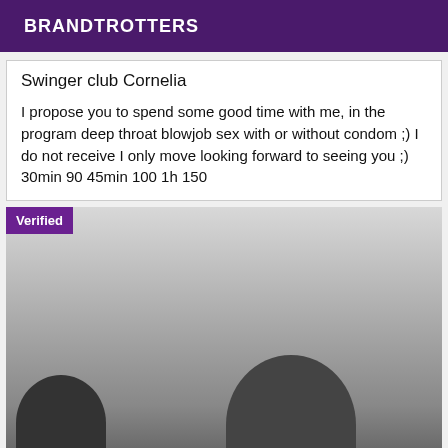BRANDTROTTERS
Swinger club Cornelia
I propose you to spend some good time with me, in the program deep throat blowjob sex with or without condom ;) I do not receive I only move looking forward to seeing you ;) 30min 90 45min 100 1h 150
[Figure (photo): Black and white photo showing two figures/silhouettes, with a 'Verified' badge overlay in the top-left corner]